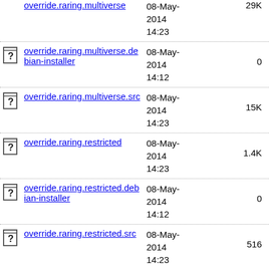override.raring.multiverse  08-May-2014 14:23  29K
override.raring.multiverse.debian-installer  08-May-2014 14:12  0
override.raring.multiverse.src  08-May-2014 14:23  15K
override.raring.restricted  08-May-2014 14:23  1.4K
override.raring.restricted.debian-installer  08-May-2014 14:12  0
override.raring.restricted.src  08-May-2014 14:23  516
override.raring.universe  08-May-2014 14:23  1.2M